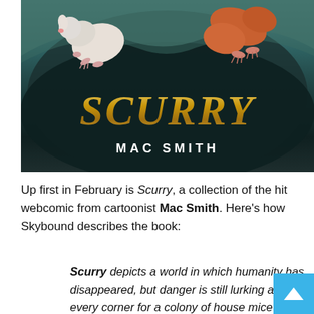[Figure (illustration): Book cover of 'Scurry' by Mac Smith showing illustrated mice on a dark rocky background. The title 'SCURRY' appears in large gold/metallic serif letters and 'MAC SMITH' in white bold capitals below.]
Up first in February is Scurry, a collection of the hit webcomic from cartoonist Mac Smith. Here's how Skybound describes the book:
Scurry depicts a world in which humanity has disappeared, but danger is still lurking around every corner for a colony of house mice struggling to surviv